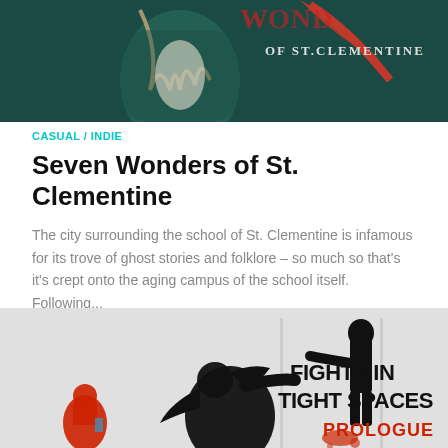[Figure (illustration): Game artwork for Seven Wonders of St. Clementine — dark teal background with a person and text 'OF ST. CLEMENTINE' visible at the top]
CASUAL / INDIE
Seven Wonders of St. Clementine
The city surrounding the school of St. Clementine is infamous for its trove of ghost stories and folklore – so much so that's it's crept onto the aging campus of the school itself. Following...
[Figure (illustration): Game artwork for Fights in Tight Spaces Prologue — light grey background with black silhouetted fighting figures and red text 'PROLOGUE']